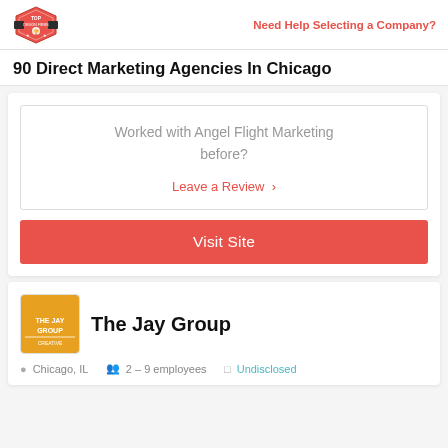Need Help Selecting a Company?
90 Direct Marketing Agencies In Chicago
Worked with Angel Flight Marketing before?
Leave a Review >
Visit Site
[Figure (logo): The Jay Group company logo - orange background with white text]
The Jay Group
Chicago, IL  •  2 - 9 employees  •  Undisclosed